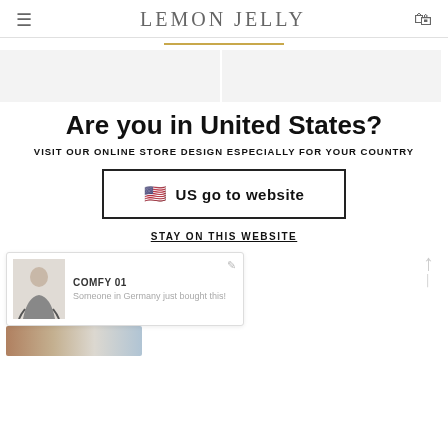LEMON JELLY
[Figure (other): Two product image placeholders side by side (gray rectangles)]
Are you in United States?
VISIT OUR ONLINE STORE DESIGN ESPECIALLY FOR YOUR COUNTRY
[Figure (other): Button with US flag emoji: US go to website]
STAY ON THIS WEBSITE
[Figure (other): Notification popup: COMFY 01 - Someone in Germany just bought this! with a small person image]
[Figure (photo): Partial product photo at bottom left showing brown/blue tones]